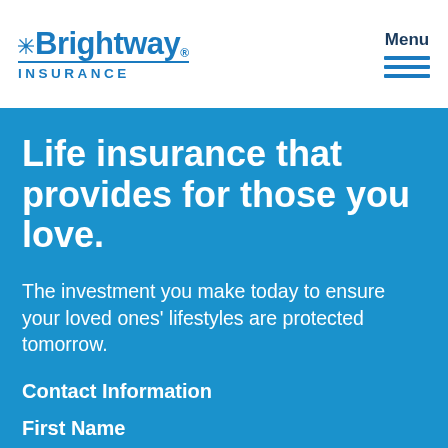Brightway Insurance — Menu
Life insurance that provides for those you love.
The investment you make today to ensure your loved ones' lifestyles are protected tomorrow.
Contact Information
First Name